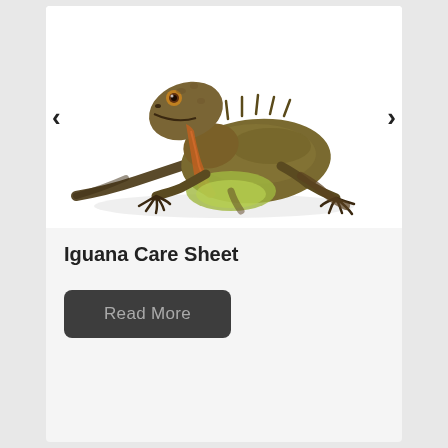[Figure (photo): A green iguana photographed on a white background, shown from the front-left angle, with claws spread and dewlap visible.]
Iguana Care Sheet
Read More